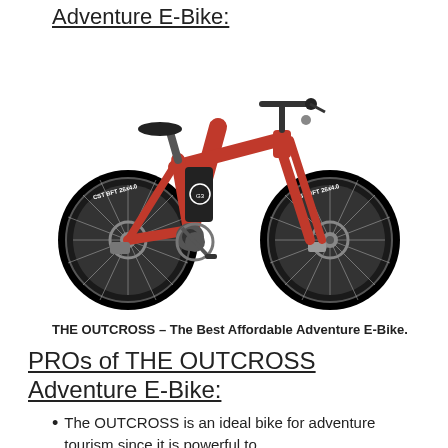Adventure E-Bike:
[Figure (photo): Red GEN3 OUTCROSS fat-tire adventure electric bike with black CST BFT 26x4.0 tires, disc brakes, and integrated battery in the down tube, shown in profile view against white background.]
THE OUTCROSS – The Best Affordable Adventure E-Bike.
PROs of THE OUTCROSS Adventure E-Bike:
The OUTCROSS is an ideal bike for adventure tourism since it is powerful to